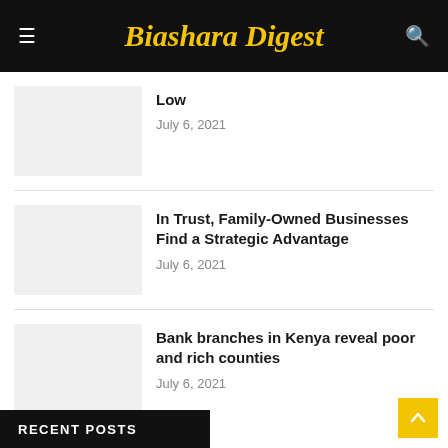Biashara Digest
Low
July 6, 2021
In Trust, Family-Owned Businesses Find a Strategic Advantage
July 6, 2021
Bank branches in Kenya reveal poor and rich counties
July 6, 2021
RECENT POSTS